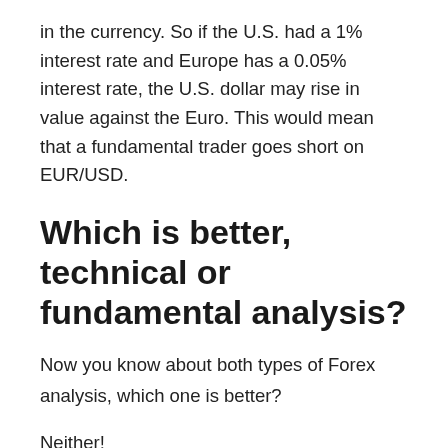in the currency. So if the U.S. had a 1% interest rate and Europe has a 0.05% interest rate, the U.S. dollar may rise in value against the Euro. This would mean that a fundamental trader goes short on EUR/USD.
Which is better, technical or fundamental analysis?
Now you know about both types of Forex analysis, which one is better?
Neither!